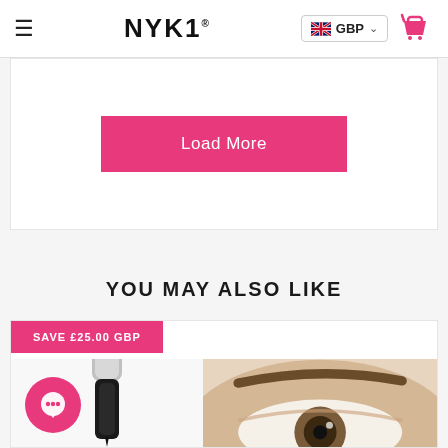NYK1 — GBP — Cart
Load More
YOU MAY ALSO LIKE
[Figure (photo): Product card with pink SAVE £25.00 GBP badge, a cosmetic product (eyeliner/serum) on the left and a close-up eye photo on the right]
SAVE £25.00 GBP